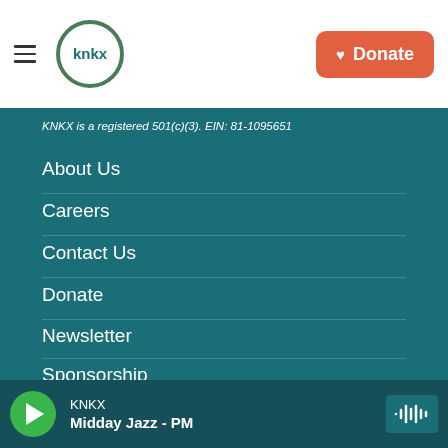KNKX — Donate
KNKX is a registered 501(c)(3). EIN: 81-1095651
About Us
Careers
Contact Us
Donate
Newsletter
Sponsorship
Privacy Policy
FCC Public Files
KNKX — Midday Jazz - PM